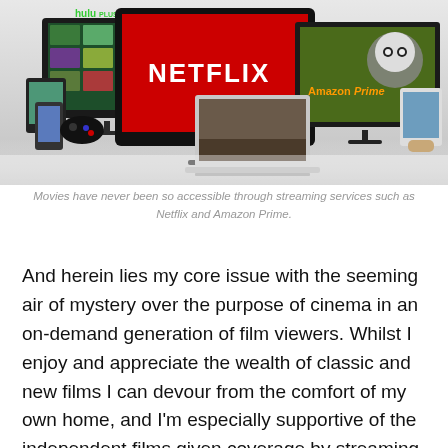[Figure (photo): Composite image showing streaming service devices and logos: Hulu Plus on a TV screen with a grid of content thumbnails, Netflix on a large black TV with red screen and white logo, Amazon Prime shown on a tablet with Kung Fu Panda imagery, and a laptop showing a movie scene. Multiple devices including tablets, phones, and gaming consoles arranged together.]
Movies have never been so accessible through streaming services such as Netflix and Amazon Prime.
And herein lies my core issue with the seeming air of mystery over the purpose of cinema in an on-demand generation of film viewers. Whilst I enjoy and appreciate the wealth of classic and new films I can devour from the comfort of my own home, and I'm especially supportive of the independent films given coverage by streaming services that may otherwise have slipped the net (I'm looking at you Okja, not so